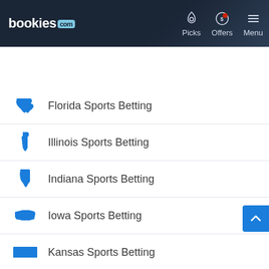[Figure (logo): bookies.com logo and navigation bar with Picks, Offers, Menu items]
[Figure (infographic): bookies Promos banner: Our BEST offers from the BEST Sportsbooks with play button]
Florida Sports Betting
Illinois Sports Betting
Indiana Sports Betting
Iowa Sports Betting
Kansas Sports Betting